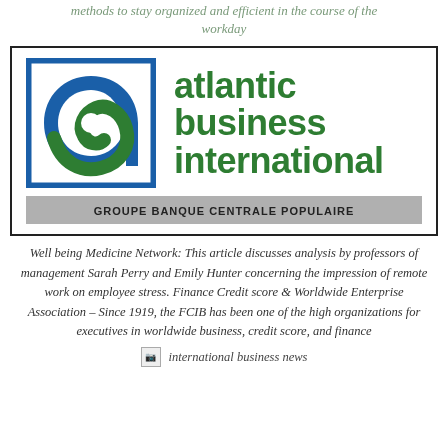methods to stay organized and efficient in the course of the workday
[Figure (logo): Atlantic Business International logo with blue 'a' letterform in a square frame, green bold text reading 'atlantic business international', and a grey bar below reading 'GROUPE BANQUE CENTRALE POPULAIRE']
Well being Medicine Network: This article discusses analysis by professors of management Sarah Perry and Emily Hunter concerning the impression of remote work on employee stress. Finance Credit score & Worldwide Enterprise Association – Since 1919, the FCIB has been one of the high organizations for executives in worldwide business, credit score, and finance
international business news